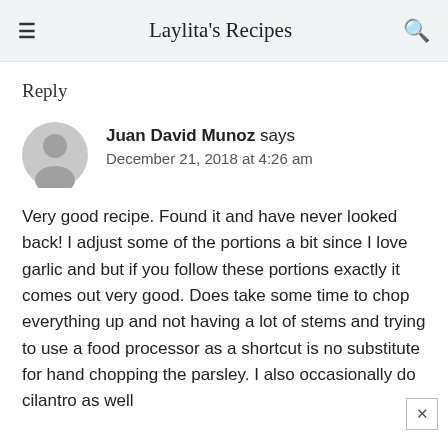Laylita's Recipes
Reply
[Figure (illustration): Grey circular avatar icon with a generic person silhouette]
Juan David Munoz says
December 21, 2018 at 4:26 am
Very good recipe. Found it and have never looked back! I adjust some of the portions a bit since I love garlic and but if you follow these portions exactly it comes out very good. Does take some time to chop everything up and not having a lot of stems and trying to use a food processor as a shortcut is no substitute for hand chopping the parsley. I also occasionally do cilantro as well